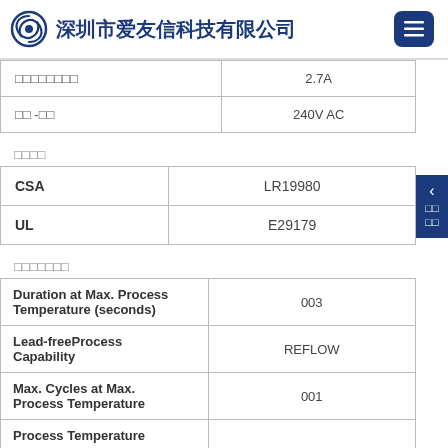深圳市爱友信科技有限公司
|  |  |
| --- | --- |
| □□□□□□□□ | 2.7A |
| □□ -□□ | 240V AC |
□□□□
|  |  |
| --- | --- |
| CSA | LR19980 |
| UL | E29179 |
□□□□□□□
|  |  |
| --- | --- |
| Duration at Max. Process Temperature (seconds) | 003 |
| Lead-freeProcess Capability | REFLOW |
| Max. Cycles at Max. Process Temperature | 001 |
| Process Temperature |  |